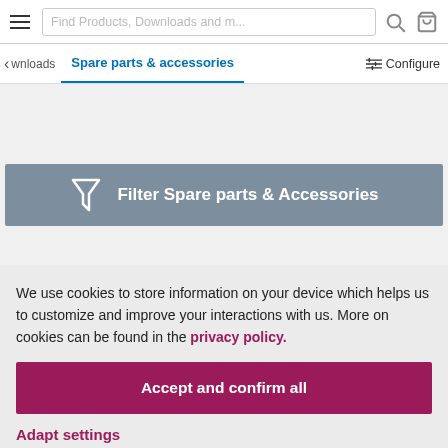Find Products, Downloads and m...
Spare parts & accessories | Configure
[Figure (infographic): Filter Spare parts & Accessories button with funnel icon on gray-blue background]
We use cookies to store information on your device which helps us to customize and improve your interactions with us. More on cookies can be found in the privacy policy.
Accept and confirm all
Adapt settings